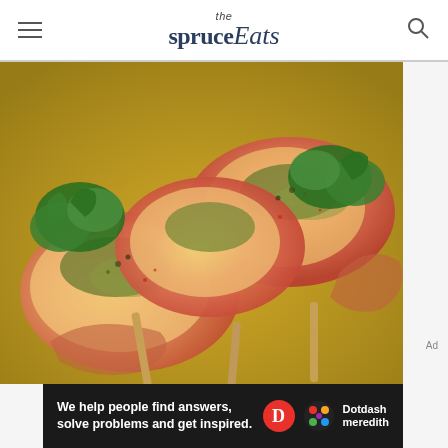the spruce Eats
[Figure (photo): Close-up photo of grilled shrimp skewers topped with herb sauce and garnished with fresh parsley, arranged on wooden skewers on a golden surface]
Ad
[Figure (logo): Dotdash Meredith advertisement banner with text: We help people find answers, solve problems and get inspired. Dotdash Meredith logo with red D circle and colorful dots.]